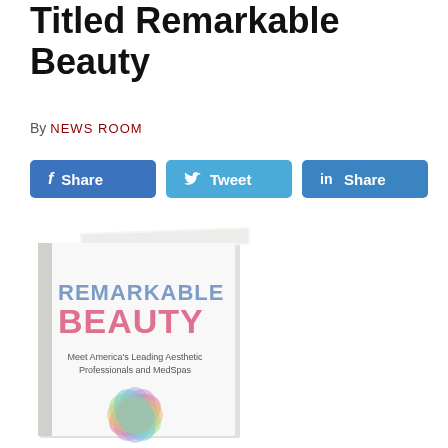Titled Remarkable Beauty
By NEWS ROOM
[Figure (infographic): Social share buttons: Facebook Share, Tweet, LinkedIn Share]
[Figure (illustration): Book cover of 'Remarkable Beauty - Meet America's Leading Aesthetic Professionals and MedSpas' with colorful lotus flower design]